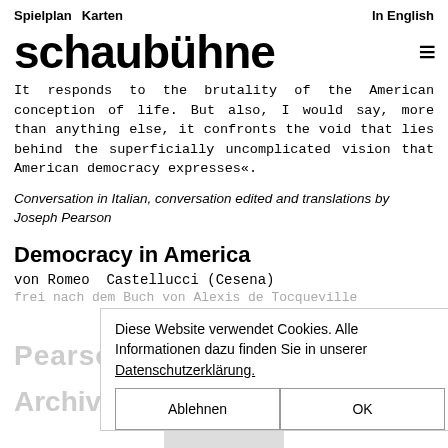Spielplan  Karten    In English
schaubühne
It responds to the brutality of the American conception of life. But also, I would say, more than anything else, it confronts the void that lies behind the superficially uncomplicated vision that American democracy expresses«.
Conversation in Italian, conversation edited and translations by Joseph Pearson
Democracy in America
von Romeo Castellucci (Cesena)
frei nach dem Buch von Alexis de Tocqueville
Diese Website verwendet Cookies. Alle Informationen dazu finden Sie in unserer Datenschutzerklärung.
Pearson's Preview
Archiv
Ablehnen    OK